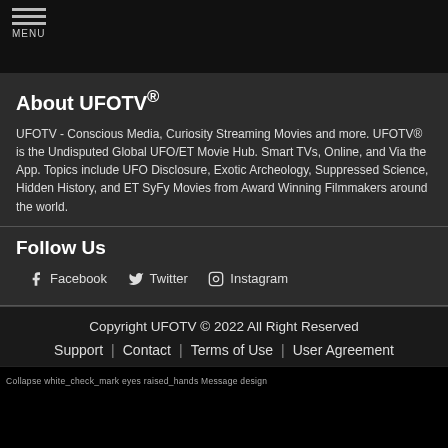MENU
About UFOTV®
UFOTV - Conscious Media, Curiosity Streaming Movies and more. UFOTV® is the Undisputed Global UFO/ET Movie Hub. Smart TVs, Online, and Via the App. Topics include UFO Disclosure, Exotic Archeology, Suppressed Science, Hidden History, and ET SyFy Movies from Award Winning Filmmakers around the world.
Follow Us
Facebook   Twitter   Instagram
Copyright UFOTV © 2022 All Right Reserved
Support | Contact | Terms of Use | User Agreement
Collapse white_check_mark eyes raised_hands Message design